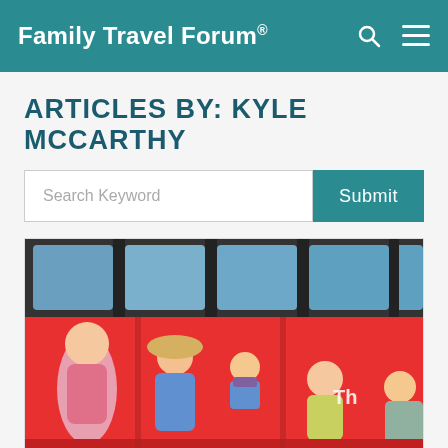Family Travel Forum®
ARTICLES BY: KYLE MCCARTHY
Search Keyword
[Figure (photo): A colorful illustrated mural on the side of a bus depicting children and adults in traditional clothing, with a real bus visible through windows in the background.]